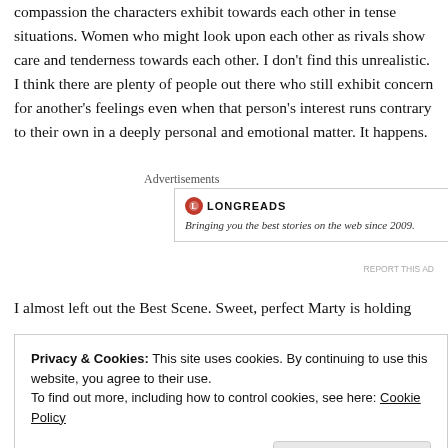compassion the characters exhibit towards each other in tense situations. Women who might look upon each other as rivals show care and tenderness towards each other. I don't find this unrealistic. I think there are plenty of people out there who still exhibit concern for another's feelings even when that person's interest runs contrary to their own in a deeply personal and emotional matter. It happens.
Advertisements
[Figure (other): Longreads advertisement banner with logo and tagline: Bringing you the best stories on the web since 2009.]
REPORT THIS AD
I almost left out the Best Scene. Sweet, perfect Marty is holding
Privacy & Cookies: This site uses cookies. By continuing to use this website, you agree to their use.
To find out more, including how to control cookies, see here: Cookie Policy
Close and accept